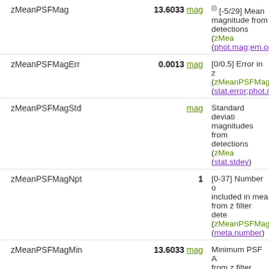zMeanPSFMag | 13.6033 mag | (i) [-5/29] Mean magnitude from detections (zMeanPSFMag) (phot.mag;em.opt...)
zMeanPSFMagErr | 0.0013 mag | [0/0.5] Error in z (zMeanPSFMag) (stat.error;phot.m...)
zMeanPSFMagStd | mag | Standard deviation magnitudes from detections (zMeanPSFMag) (stat.stdev)
zMeanPSFMagNpt | 1 | [0-37] Number of included in mean from z filter dete... (zMeanPSFMag) (meta.number)
zMeanPSFMagMin | 13.6033 mag | Minimum PSF A from z filter dete... (zMeanPSFMag) (stat.error;phot.m...)
zMeanPSFMagMax | 13.6033 mag | Maximum PSF A from z filter dete... (zMeanPSFMag) (stat.error;phot.m...)